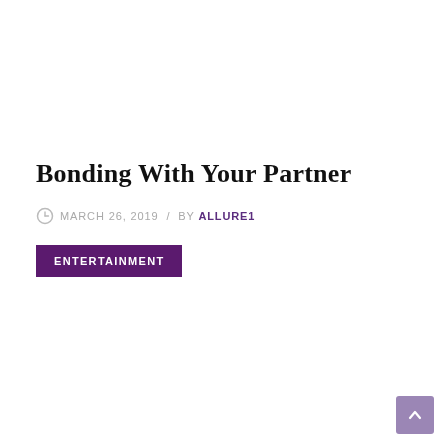Bonding With Your Partner
MARCH 26, 2019  /  BY ALLURE1
ENTERTAINMENT